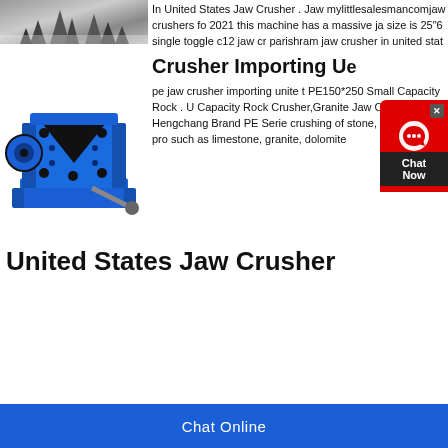[Figure (photo): Black and white photo of snowy trees]
In United States Jaw Crusher . Jaw mylittlesalesmancomjaw crushers fo 2021 this machine has a massive ja size is 25"6 single toggle c12 jaw cr parishram jaw crusher in united stat
[Figure (photo): Blue industrial jaw crusher machine]
Crusher Importing U e
pe jaw crusher importing unite t PE150*250 Small Capacity Rock . U Capacity Rock Crusher,Granite Jaw Crusher Hengchang Brand PE Serie crushing of stone, rock,Cement pro such as limestone, granite, dolomite
United States Jaw Crusher
Chat Online